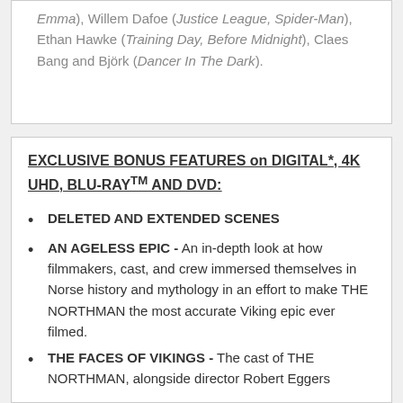Emma), Willem Dafoe (Justice League, Spider-Man), Ethan Hawke (Training Day, Before Midnight), Claes Bang and Björk (Dancer In The Dark).
EXCLUSIVE BONUS FEATURES on DIGITAL*, 4K UHD, BLU-RAYTM AND DVD:
DELETED AND EXTENDED SCENES
AN AGELESS EPIC - An in-depth look at how filmmakers, cast, and crew immersed themselves in Norse history and mythology in an effort to make THE NORTHMAN the most accurate Viking epic ever filmed.
THE FACES OF VIKINGS - The cast of THE NORTHMAN, alongside director Robert Eggers